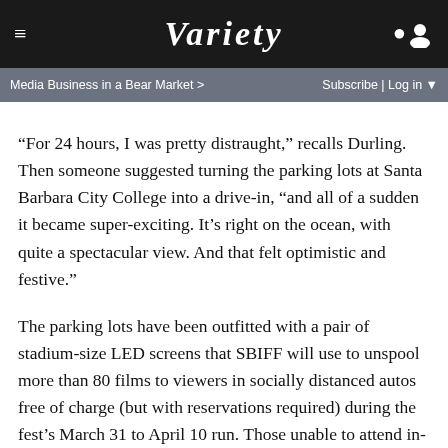VARIETY
Media Business in a Bear Market >
Subscribe | Log in ▼
“For 24 hours, I was pretty distraught,” recalls Durling. Then someone suggested turning the parking lots at Santa Barbara City College into a drive-in, “and all of a sudden it became super-exciting. It’s right on the ocean, with quite a spectacular view. And that felt optimistic and festive.”
The parking lots have been outfitted with a pair of stadium-size LED screens that SBIFF will use to unspool more than 80 films to viewers in socially distanced autos free of charge (but with reservations required) during the fest’s March 31 to April 10 run. Those unable to attend in-person will be able to view the festival’s lineup, which includes 47 world premieres and 37 U.S. premieres from 45 countries, online with the purchase of a